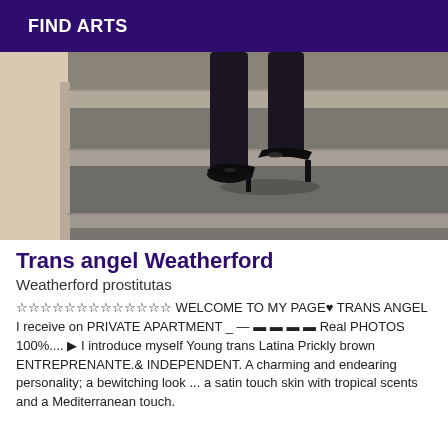FIND ARTS
[Figure (photo): Close-up photo of legs wearing black high-heel shoes descending grey-carpeted stairs with wooden wall in background]
Trans angel Weatherford
Weatherford prostitutas
☆☆☆☆☆☆☆☆☆☆☆☆☆ WELCOME TO MY PAGE♥ TRANS ANGEL I receive on PRIVATE APARTMENT _ — ▬ ▬ ▬ ▬ Real PHOTOS 100%.... ▶ I introduce myself Young trans Latina Prickly brown ENTREPRENANTE.& INDEPENDENT. A charming and endearing personality; a bewitching look ... a satin touch skin with tropical scents and a Mediterranean touch.